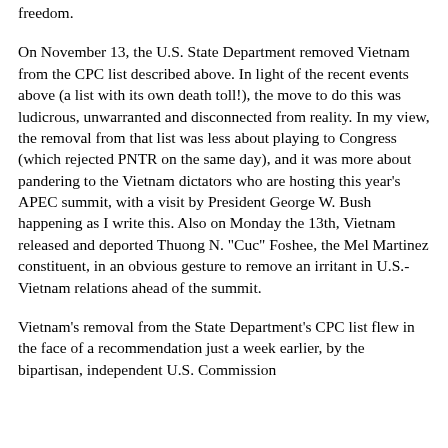freedom.
On November 13, the U.S. State Department removed Vietnam from the CPC list described above. In light of the recent events above (a list with its own death toll!), the move to do this was ludicrous, unwarranted and disconnected from reality. In my view, the removal from that list was less about playing to Congress (which rejected PNTR on the same day), and it was more about pandering to the Vietnam dictators who are hosting this year's APEC summit, with a visit by President George W. Bush happening as I write this. Also on Monday the 13th, Vietnam released and deported Thuong N. "Cuc" Foshee, the Mel Martinez constituent, in an obvious gesture to remove an irritant in U.S.-Vietnam relations ahead of the summit.
Vietnam's removal from the State Department's CPC list flew in the face of a recommendation just a week earlier, by the bipartisan, independent U.S. Commission